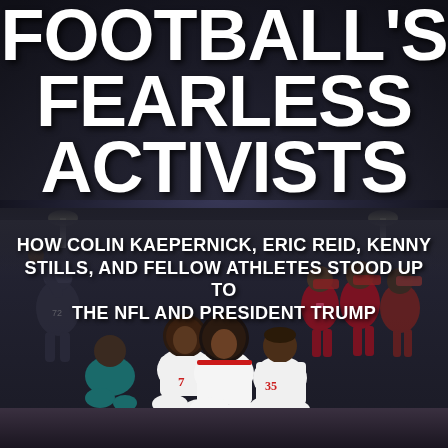FOOTBALL'S FEARLESS ACTIVISTS
HOW COLIN KAEPERNICK, ERIC REID, KENNY STILLS, AND FELLOW ATHLETES STOOD UP TO THE NFL AND PRESIDENT TRUMP
[Figure (photo): Photo collage of NFL players kneeling and raising fists in protest during the national anthem. Left side shows a player wearing jersey #72 raising a fist. Center-foreground shows three players kneeling in white 49ers uniforms. Right side shows players in burgundy/gold Redskins uniforms. Stadium lights visible in background.]